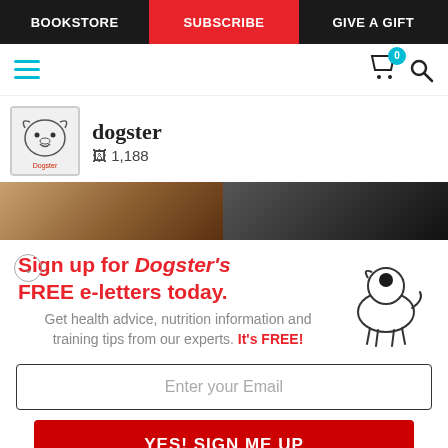BOOKSTORE | SUBSCRIBE | GIVE A GIFT
[Figure (screenshot): Mobile website header with hamburger menu, cart icon with badge showing 0, and search icon]
dogster · 🖼 1,188
[Figure (photo): Two cropped images side by side forming a strip: left shows a warm-toned close-up, right shows a dark interior scene]
Sign up for Dogster's FREE e-letters today.
Get health advice, nutrition information and training tips from our experts. It's FREE!
Enter your Email
YES! SIGN ME UP